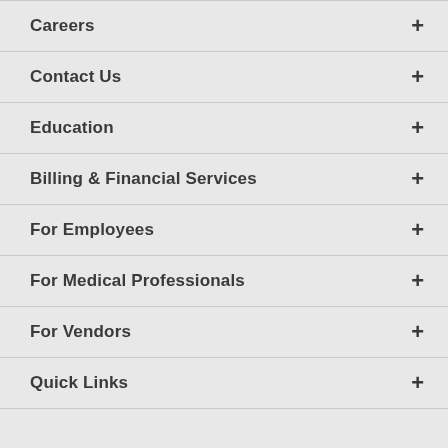Careers
Contact Us
Education
Billing & Financial Services
For Employees
For Medical Professionals
For Vendors
Quick Links